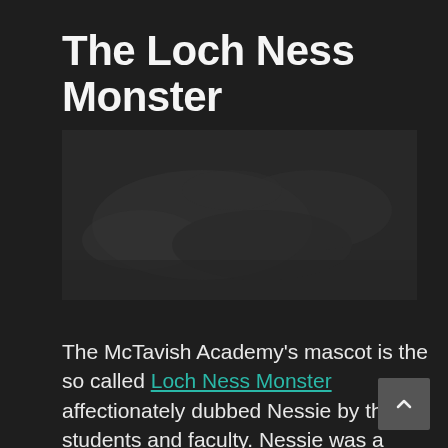The Loch Ness Monster
[Figure (photo): Dark image, likely of a lake or mysterious creature scene related to the Loch Ness Monster]
The McTavish Academy's mascot is the so called Loch Ness Monster affectionately dubbed Nessie by the students and faculty. Nessie was a mischievous beast magically tamed by Ian McTavish when he was drawn to the mystical